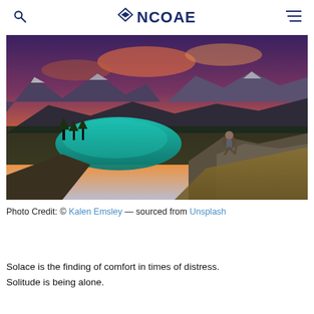NCOAE
[Figure (photo): A person sitting on rocky mountain terrain overlooking a vivid turquoise alpine lake surrounded by evergreen forest, with dramatic mountains and a colorful sunset sky in the background.]
Photo Credit: © Kalen Emsley — sourced from Unsplash
Solace is the finding of comfort in times of distress. Solitude is being alone.